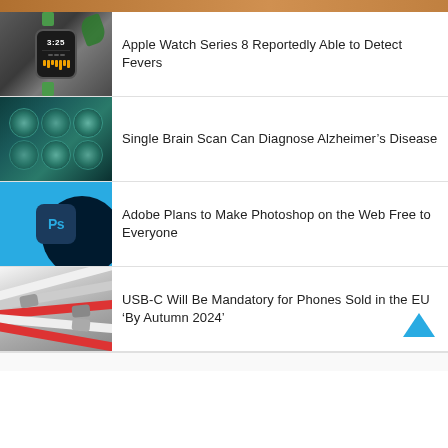[Figure (photo): Partial top strip showing a warm-toned photo (cropped)]
Apple Watch Series 8 Reportedly Able to Detect Fevers
Single Brain Scan Can Diagnose Alzheimer’s Disease
Adobe Plans to Make Photoshop on the Web Free to Everyone
USB-C Will Be Mandatory for Phones Sold in the EU ‘By Autumn 2024’